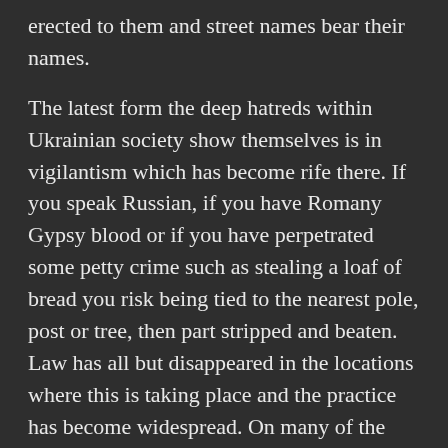erected to them and street names bear their names.
The latest form the deep hatreds within Ukrainian society show themselves is in vigilantism which has become rife there. If you speak Russian, if you have Romany Gypsy blood or if you have perpetrated some petty crime such as stealing a loaf of bread you risk being tied to the nearest pole, post or tree, then part stripped and beaten. Law has all but disappeared in the locations where this is taking place and the practice has become widespread. On many of the occasions a uniformed person is seen perpetrating these acts.